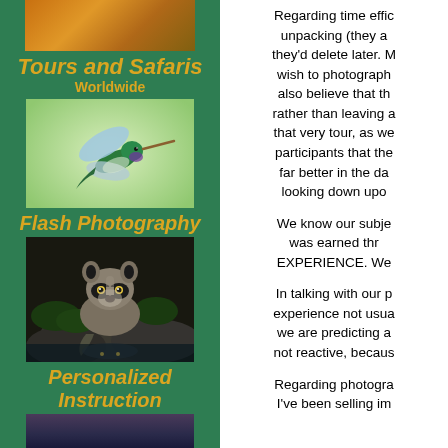[Figure (photo): Orange/golden rocky texture photo at top of left column]
Tours and Safaris
Worldwide
[Figure (photo): Hummingbird in flight against green background]
Flash Photography
[Figure (photo): Raccoon standing on rocks near water with reflection]
Personalized Instruction
[Figure (photo): Dark photo at bottom of left column]
Regarding time effic unpacking (they a they'd delete later. M wish to photograph also believe that th rather than leaving a that very tour, as we participants that the far better in the da looking down upo
We know our subje was earned thr EXPERIENCE. We
In talking with our p experience not usua we are predicting a not reactive, becaus
Regarding photogra I've been selling im